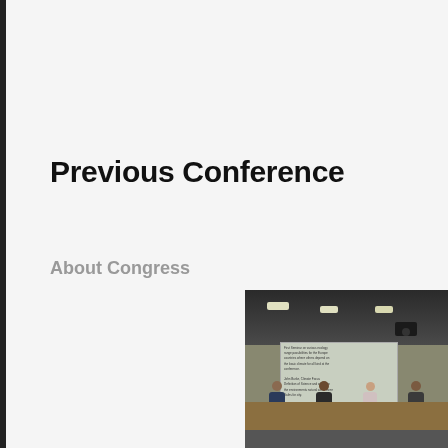Previous Conference
About Congress
[Figure (photo): Conference room photo showing panelists seated at a table with a projection screen displaying text in the background, ceiling lights visible above]